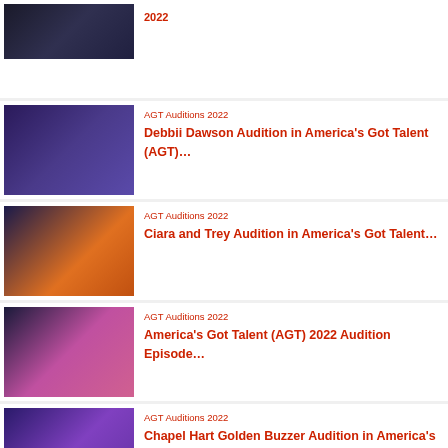[Figure (photo): Partial card at top with dark TV show image]
AGT Auditions 2022
Debbii Dawson Audition in America's Got Talent (AGT)...
AGT Auditions 2022
Ciara and Trey Audition in America's Got Talent...
AGT Auditions 2022
America's Got Talent (AGT) 2022 Audition Episode...
AGT Auditions 2022
Chapel Hart Golden Buzzer Audition in America's Got...
About the author